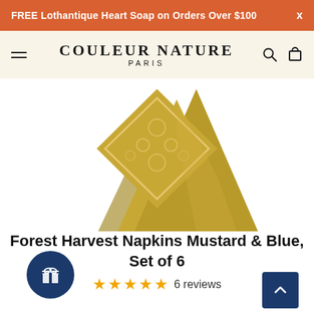FREE Lothantique Heart Soap on Orders Over $100
[Figure (logo): Couleur Nature Paris brand logo on cream background]
[Figure (photo): Golden/mustard yellow folded napkins with embroidered floral pattern in a fan arrangement, photographed from above on white background]
Forest Harvest Napkins Mustard & Blue, Set of 6
★★★★★ 6 reviews